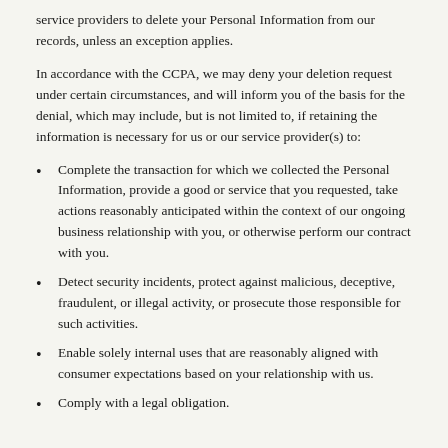service providers to delete your Personal Information from our records, unless an exception applies.
In accordance with the CCPA, we may deny your deletion request under certain circumstances, and will inform you of the basis for the denial, which may include, but is not limited to, if retaining the information is necessary for us or our service provider(s) to:
Complete the transaction for which we collected the Personal Information, provide a good or service that you requested, take actions reasonably anticipated within the context of our ongoing business relationship with you, or otherwise perform our contract with you.
Detect security incidents, protect against malicious, deceptive, fraudulent, or illegal activity, or prosecute those responsible for such activities.
Enable solely internal uses that are reasonably aligned with consumer expectations based on your relationship with us.
Comply with a legal obligation.